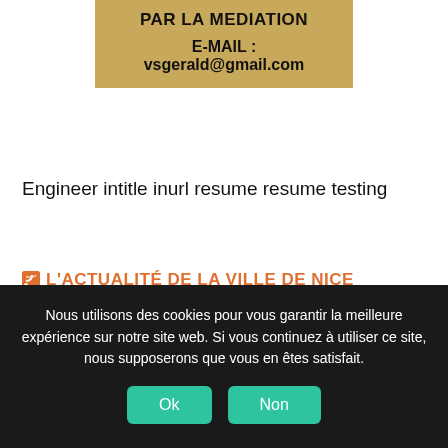PAR LA MEDIATION
E-MAIL : vsgerald@gmail.com
Engineer intitle inurl resume resume testing
L'ACTUALITÉ DE LA VILLE DE NICE
Les cafés de l"écologie positive
Nous utilisons des cookies pour vous garantir la meilleure expérience sur notre site web. Si vous continuez à utiliser ce site, nous supposerons que vous en êtes satisfait.
Ok  Non